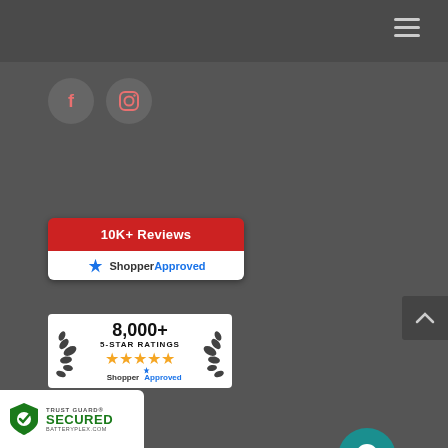[Figure (screenshot): Dark gray navigation bar with hamburger menu icon on the right]
[Figure (screenshot): Social media icons: Facebook (f) and Instagram circles in salmon/pink color on dark background]
[Figure (logo): Shopper Approved badge with red top section reading '10K+ Reviews' and white bottom with ShopperApproved logo]
[Figure (screenshot): Teal chat bubble icon with white speech bubble symbol]
[Figure (screenshot): Dark back-to-top button with upward caret arrow]
[Figure (logo): Shopper Approved 8,000+ 5-Star Ratings badge with laurel wreath, gold stars, and ShopperApproved logo]
[Figure (logo): Trust Guard Secured badge with shield icon and BATTERYPLEX.COM domain]